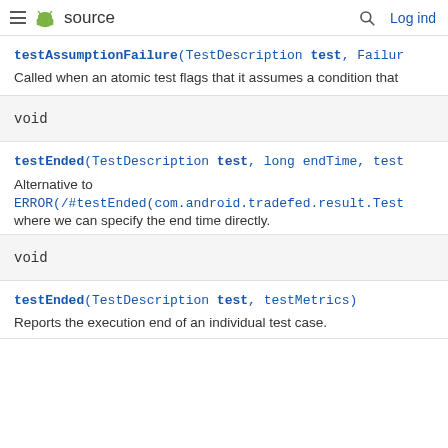≡ [android] source   🔍  Log ind
testAssumptionFailure(TestDescription test, Failur
Called when an atomic test flags that it assumes a condition that
void
testEnded(TestDescription test, long endTime, test
Alternative to
ERROR(/#testEnded(com.android.tradefed.result.Test
where we can specify the end time directly.
void
testEnded(TestDescription test, testMetrics)
Reports the execution end of an individual test case.